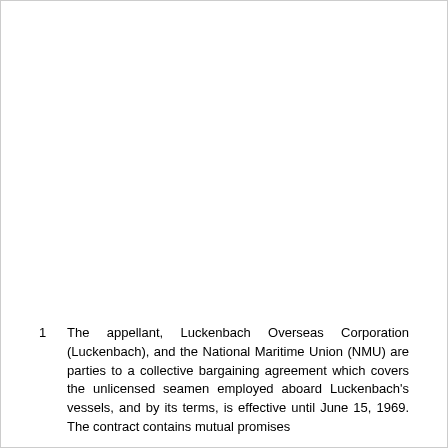1  The appellant, Luckenbach Overseas Corporation (Luckenbach), and the National Maritime Union (NMU) are parties to a collective bargaining agreement which covers the unlicensed seamen employed aboard Luckenbach's vessels, and by its terms, is effective until June 15, 1969. The contract contains mutual promises